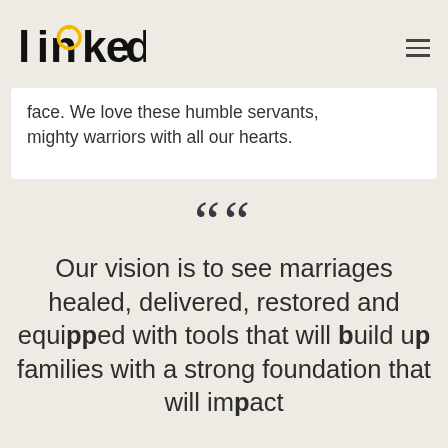[Figure (logo): Linked logo — stylized text 'linked' with a gold ring replacing the 'i' dot, black serif/sans lettering]
face. We love these humble servants, mighty warriors with all our hearts.
““
Our vision is to see marriages healed, delivered, restored and equipped with tools that will build up families with a strong foundation that will impact